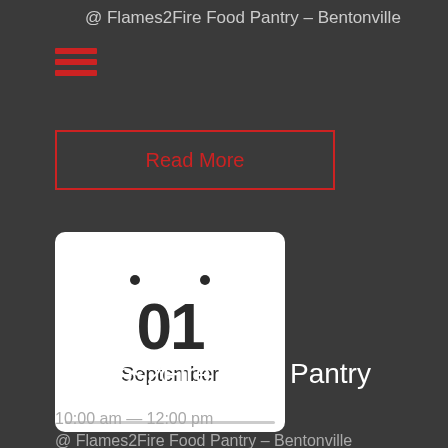@ Flames2Fire Food Pantry – Bentonville
[Figure (other): Hamburger menu icon with three red horizontal lines]
Read More
[Figure (other): Calendar icon showing 01 September]
Flames2Fire Food Pantry
10:00 am — 12:00 pm
@ Flames2Fire Food Pantry – Bentonville